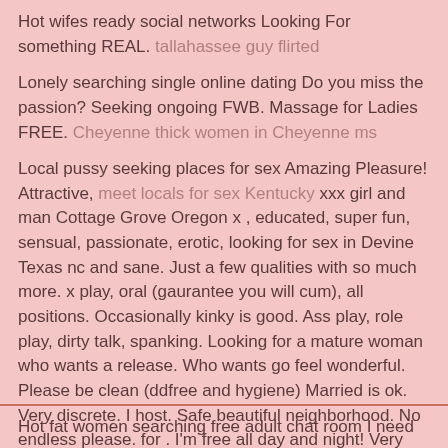Hot wifes ready social networks Looking For something REAL. tallahassee guy flirted
Lonely searching single online dating Do you miss the passion? Seeking ongoing FWB. Massage for Ladies FREE. Cheyenne thick women in Cheyenne ms
Local pussy seeking places for sex Amazing Pleasure! Attractive, meet locals for sex Kentucky xxx girl and man Cottage Grove Oregon x , educated, super fun, sensual, passionate, erotic, looking for sex in Devine Texas nc and sane. Just a few qualities with so much more. x play, oral (gaurantee you will cum), all positions. Occasionally kinky is good. Ass play, role play, dirty talk, spanking. Looking for a mature woman who wants a release. Who wants go feel wonderful. Please be clean (ddfree and hygiene) Married is ok. Very discrete. I host. Safe beautiful neighborhood. No endless please. for . I'm free all day and night! Very excited to hear from you.
Hot fat women searching free adult chat room I need